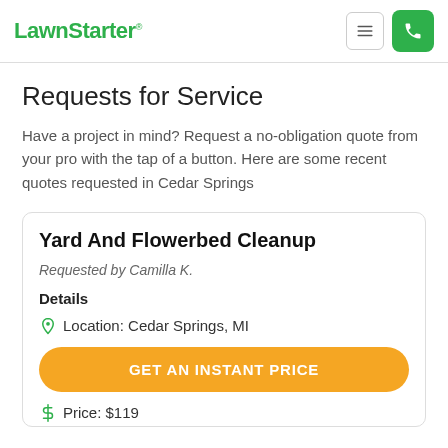LawnStarter
Requests for Service
Have a project in mind? Request a no-obligation quote from your pro with the tap of a button. Here are some recent quotes requested in Cedar Springs
Yard And Flowerbed Cleanup
Requested by Camilla K.
Details
Location: Cedar Springs, MI
GET AN INSTANT PRICE
Price: $119